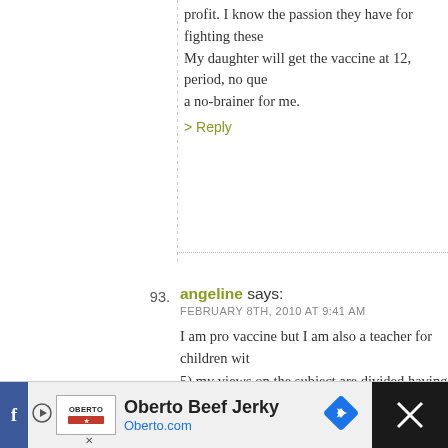profit. I know the passion they have for fighting these
My daughter will get the vaccine at 12, period, no qu a no-brainer for me.
> Reply
93. angeline says:
FEBRUARY 8TH, 2010 AT 9:41 AM
I am pro vaccine but I am also a teacher for children wit 5) my views on the subject are divided having studied a and working with children broad in the spectrum. From some children I have had in my classroom were born "d parents realizing developmental delays as early as 9 mo they were diagnosed with autism. Other cases the chilo home videos indicating the children had developed lan skills, social skills, etc,. a week after receiving the vaccin shut down. ( these are cases I have dealt with first hand been due to the vaccine or it may have not been ? No o
[Figure (other): Oberto Beef Jerky advertisement banner at the bottom of the page, with logo, text 'Oberto Beef Jerky' and 'Oberto.com', a blue diamond navigation icon, and a dark right panel.]